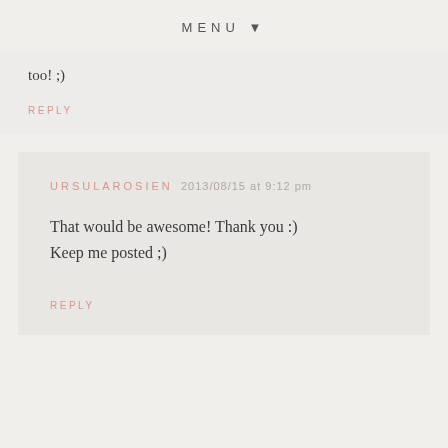MENU ▼
too! ;)
REPLY
URSULAROSIEN  2013/08/15 at 9:12 pm
That would be awesome! Thank you :)
Keep me posted ;)
REPLY